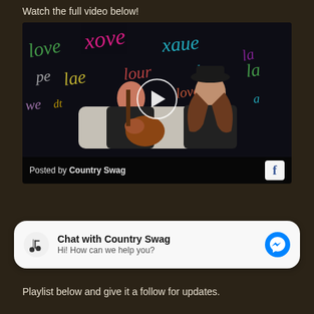Watch the full video below!
[Figure (screenshot): Facebook video thumbnail showing two women sitting on a white couch against a colorful graffiti 'love' wall background. One woman holds an acoustic guitar. A play button circle is visible in the center. Footer reads 'Posted by Country Swag' with Facebook logo.]
[Figure (infographic): Chat widget with Country Swag logo icon, title 'Chat with Country Swag', subtitle 'Hi! How can we help you?', and a blue Messenger button on the right.]
Playlist below and give it a follow for updates.